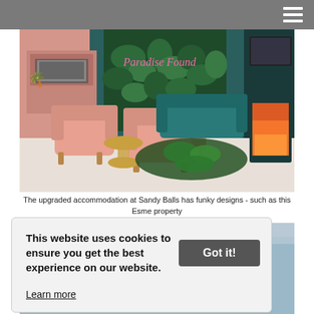[Figure (photo): Interior of the Esme property at Sandy Balls holiday park showing pink armchairs, a gold side table, teal sofa, tropical leaf rug, and a neon sign reading 'Paradise Found' on a green plant wall backdrop]
The upgraded accommodation at Sandy Balls has funky designs - such as this Esme property
[Figure (photo): Second interior photo partially visible at the bottom of the page, showing a modern holiday accommodation interior]
This website uses cookies to ensure you get the best experience on our website.
Learn more